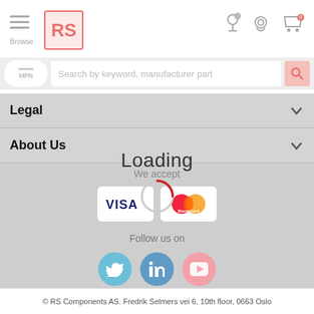[Figure (screenshot): RS Components website header with hamburger menu, RS logo, search bar with MPN toggle, location pin icon, user account icon, and cart icon with 0 badge]
Browse
Search by keyword, manufacturer part
MPN
Legal
About Us
Loading
We accept
[Figure (logo): VISA payment card logo]
[Figure (logo): Mastercard payment logo]
Follow us on
[Figure (illustration): Twitter/X social media icon circle (blue)]
[Figure (illustration): LinkedIn social media icon circle (blue)]
[Figure (illustration): YouTube social media icon circle (pink/red)]
© RS Components AS. Fredrik Selmers vei 6, 10th floor, 0663 Oslo